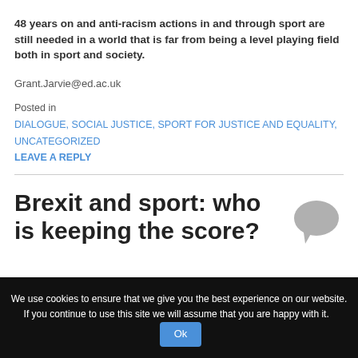48 years on and anti-racism actions in and through sport are still needed in a world that is far from being a level playing field both in sport and society.
Grant.Jarvie@ed.ac.uk
Posted in
DIALOGUE, SOCIAL JUSTICE, SPORT FOR JUSTICE AND EQUALITY, UNCATEGORIZED
LEAVE A REPLY
Brexit and sport: who is keeping the score?
We use cookies to ensure that we give you the best experience on our website. If you continue to use this site we will assume that you are happy with it.